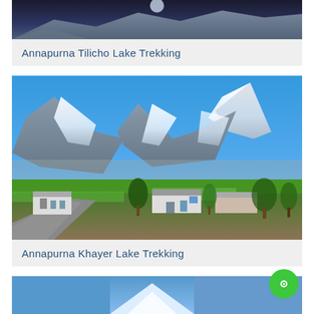[Figure (photo): Partial view of Annapurna Tilicho Lake trekking landscape, cropped at top]
Annapurna Tilicho Lake Trekking
[Figure (photo): Snow-capped Annapurna mountain peaks with village houses and green fields in the foreground, blue sky]
Annapurna Khayer Lake Trekking
[Figure (photo): Partial view of a mountain peak in clear blue sky, third trekking card partially visible at bottom]